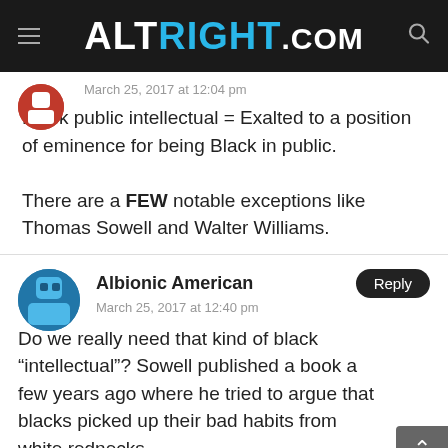ALTRIGHT.COM
March 25, 2017 at 12:04 pm
Black public intellectual = Exalted to a position of eminence for being Black in public.

There are a FEW notable exceptions like Thomas Sowell and Walter Williams.
Albionic American
March 25, 2017 at 12:40 pm
Do we really need that kind of black “intellectual”? Sowell published a book a few years ago where he tried to argue that blacks picked up their bad habits from white rednecks.